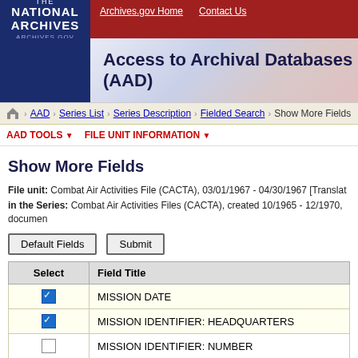[Figure (logo): The National Archives logo with dark blue background and Archives.gov text]
Archives.gov Home   Contact Us
Access to Archival Databases (AAD)
AAD > Series List > Series Description > Fielded Search > Show More Fields
AAD TOOLS ▼   FILE UNIT INFORMATION ▼
Show More Fields
File unit: Combat Air Activities File (CACTA), 03/01/1967 - 04/30/1967 [Translat in the Series: Combat Air Activities Files (CACTA), created 10/1965 - 12/1970, documen
| Select | Field Title |
| --- | --- |
| ☑ | MISSION DATE |
| ☑ | MISSION IDENTIFIER: HEADQUARTERS |
| ☐ | MISSION IDENTIFIER: NUMBER |
| ☐ | TARGET SEQUENCE IDENTIFIER |